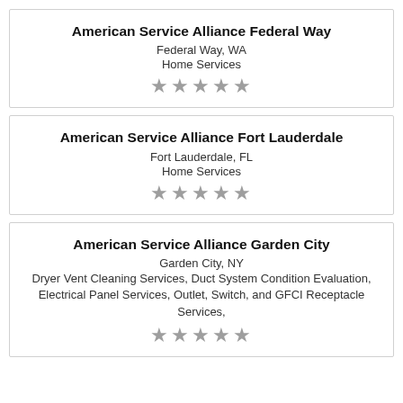American Service Alliance Federal Way
Federal Way, WA
Home Services
[Figure (other): 5 grey stars rating]
American Service Alliance Fort Lauderdale
Fort Lauderdale, FL
Home Services
[Figure (other): 5 grey stars rating]
American Service Alliance Garden City
Garden City, NY
Dryer Vent Cleaning Services, Duct System Condition Evaluation, Electrical Panel Services, Outlet, Switch, and GFCI Receptacle Services,
[Figure (other): 5 grey stars rating]